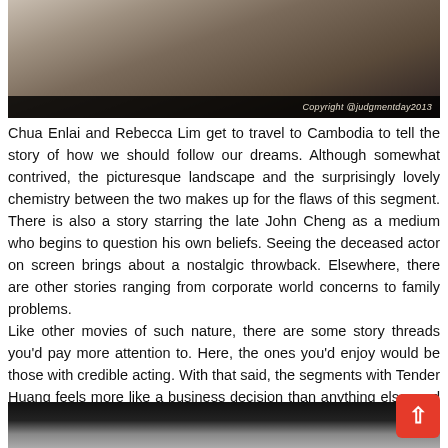[Figure (photo): Close-up photo of a woman with dark hair and olive/green jacket, with copyright watermark 'Copyright @judgmentday2013' in bottom right]
Chua Enlai and Rebecca Lim get to travel to Cambodia to tell the story of how we should follow our dreams. Although somewhat contrived, the picturesque landscape and the surprisingly lovely chemistry between the two makes up for the flaws of this segment. There is also a story starring the late John Cheng as a medium who begins to question his own beliefs. Seeing the deceased actor on screen brings about a nostalgic throwback. Elsewhere, there are other stories ranging from corporate world concerns to family problems.
Like other movies of such nature, there are some story threads you'd pay more attention to. Here, the ones you'd enjoy would be those with credible acting. With that said, the segments with Tender Huang feels more like a business decision than anything else, and Sebastian Tan's involvement as a car salesman seems like a feeler to connect stories together.
[Figure (photo): Partial photo at bottom, dark background with top of a person's head visible]